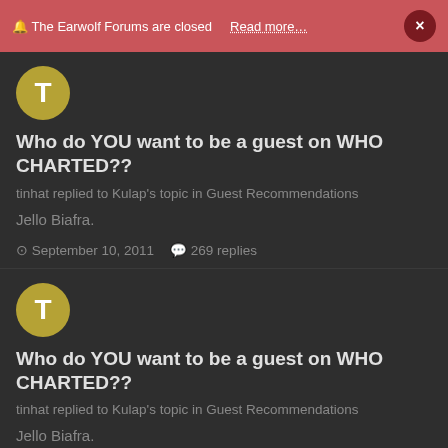🔔 The Earwolf Forums are closed   Read more…   ×
[Figure (illustration): Circular avatar with letter T on olive/yellow background]
Who do YOU want to be a guest on WHO CHARTED??
tinhat replied to Kulap's topic in Guest Recommendations
Jello Biafra.
September 10, 2011   269 replies
[Figure (illustration): Circular avatar with letter T on olive/yellow background]
Who do YOU want to be a guest on WHO CHARTED??
tinhat replied to Kulap's topic in Guest Recommendations
Jello Biafra.
September 10, 2011   269 replies